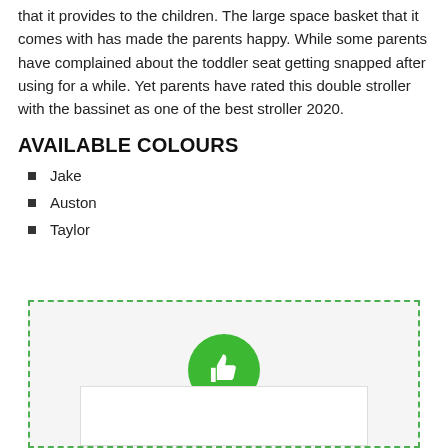that it provides to the children. The large space basket that it comes with has made the parents happy. While some parents have complained about the toddler seat getting snapped after using for a while. Yet parents have rated this double stroller with the bassinet as one of the best stroller 2020.
AVAILABLE COLOURS
Jake
Auston
Taylor
[Figure (illustration): A green thumbs-up icon inside a green circle, displayed within a dashed green border box with a white inner panel at the bottom.]